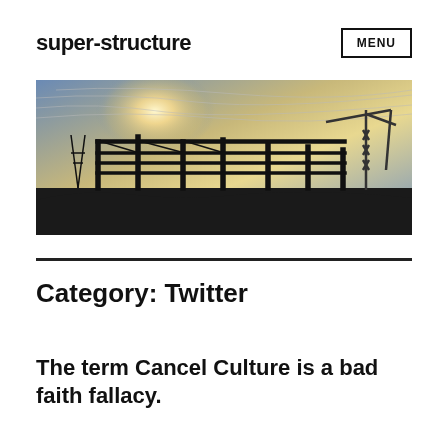super-structure
[Figure (photo): Silhouette of a steel building frame under construction against a dramatic sky with clouds and sunlight, with a construction crane visible on the right side.]
Category: Twitter
The term Cancel Culture is a bad faith fallacy.